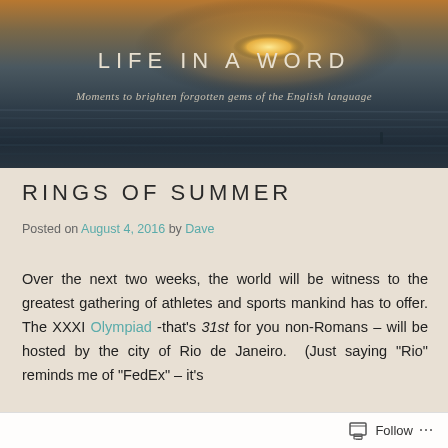[Figure (photo): Ocean/beach sunset header banner with warm orange and golden tones on the horizon, dark bluish-gray water and sky, silhouette of distant figure on the beach]
LIFE IN A WORD
Moments to brighten forgotten gems of the English language
RINGS OF SUMMER
Posted on August 4, 2016 by Dave
Over the next two weeks, the world will be witness to the greatest gathering of athletes and sports mankind has to offer. The XXXI Olympiad -that's 31st for you non-Romans – will be hosted by the city of Rio de Janeiro.  (Just saying "Rio" reminds me of "FedEx" – it's